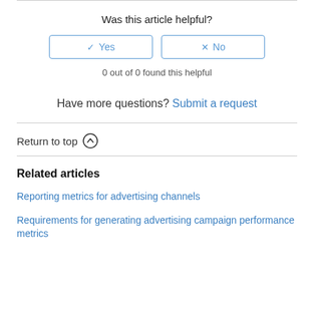Was this article helpful?
[Figure (other): Two vote buttons: Yes (with checkmark icon) and No (with X icon), styled with blue border]
0 out of 0 found this helpful
Have more questions? Submit a request
Return to top ↑
Related articles
Reporting metrics for advertising channels
Requirements for generating advertising campaign performance metrics